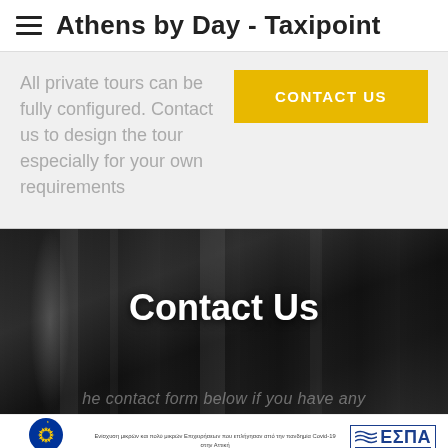Athens by Day - Taxipoint
All private tours can be fully configured. Contact us to design the tour especially for your own requirements
Contact Us
he contact form below if you have any
Ευρωπαϊκή Ένωση Ευρωπαϊκό Ταμείο Περιφερειακής Ανάπτυξης | Ενίσχυση μικρών και πολύ μικρών Επιχειρήσεων που επλήγησαν από την πανδημία Covid-19 στην Αττική | Με τη συγχρηματοδότηση της Ελλάδας και της Ευρωπαϊκής Ένωσης | ΕΣΠΑ 2014-2020